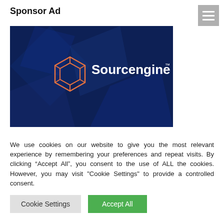Sponsor Ad
[Figure (logo): Sourcengine advertisement banner with dark blue geometric background and Sourcengine logo (orange hexagon icon and white text) in the upper center area]
We use cookies on our website to give you the most relevant experience by remembering your preferences and repeat visits. By clicking “Accept All”, you consent to the use of ALL the cookies. However, you may visit "Cookie Settings" to provide a controlled consent.